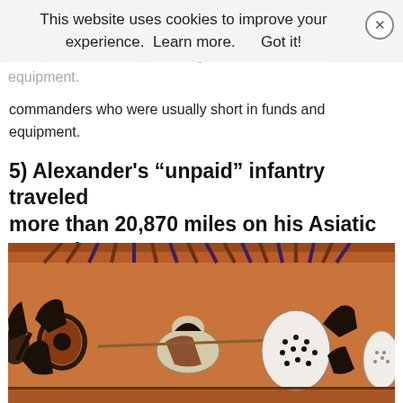well-managed the key to a tactical advantage that must have been welcomed by the ancient commanders who were usually short in funds and equipment.
This website uses cookies to improve your experience.  Learn more.     Got it!
5) Alexander's “unpaid” infantry traveled more than 20,870 miles on his Asiatic campaign –
[Figure (photo): Ancient Greek black-figure pottery (amphora) depicting warriors in combat, with figures carrying shields and weapons on an orange-red ceramic background with black painted figures.]